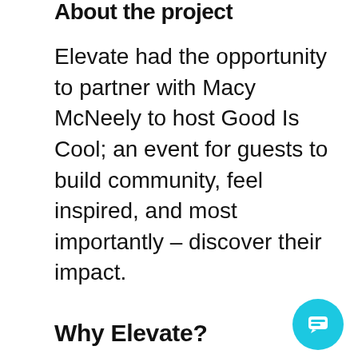About the project
Elevate had the opportunity to partner with Macy McNeely to host Good Is Cool; an event for guests to build community, feel inspired, and most importantly – discover their impact.
Why Elevate?
[Figure (other): Teal circular chat button icon in bottom-right corner]